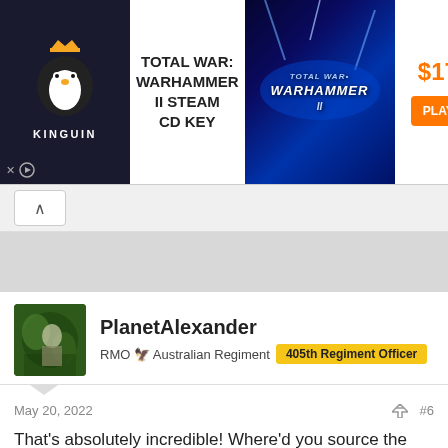[Figure (screenshot): Kinguin advertisement banner for Total War: Warhammer II Steam CD Key, priced at $17.71 with a Play Now button]
PlanetAlexander
RMO 🦅 Australian Regiment  405th Regiment Officer
May 20, 2022  #6
That's absolutely incredible! Where'd you source the models from?
Also, if you have access to those plushies in the background, I might have to demand you take a photo in your armour drowning in them.
If you're looking for any feedback, mine would be to have a go